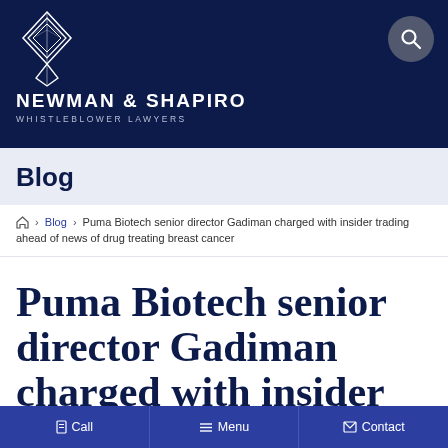[Figure (logo): Newman & Shapiro Whistleblower Lawyers logo with diamond/geometric mark in white on dark navy background]
Blog
🏠 > Blog > Puma Biotech senior director Gadiman charged with insider trading ahead of news of drug treating breast cancer
Puma Biotech senior director Gadiman charged with insider
Call  Menu  Contact